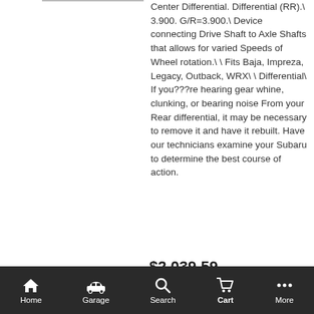Center Differential. Differential (RR).\ 3.900. G/R=3.900.\ Device connecting Drive Shaft to Axle Shafts that allows for varied Speeds of Wheel rotation.\ \ Fits Baja, Impreza, Legacy, Outback, WRX\ \ Differential\ If you???re hearing gear whine, clunking, or bearing noise From your Rear differential, it may be necessary to remove it and have it rebuilt. Have our technicians examine your Subaru to determine the best course of action.
$2,039.59
ADD TO CART
[Figure (illustration): Drive shaft / axle assembly part illustration with N/A badge]
Drv Sft AY75152
28421AG00C
Axle Assembly
Home  Garage  Search  Cart  More